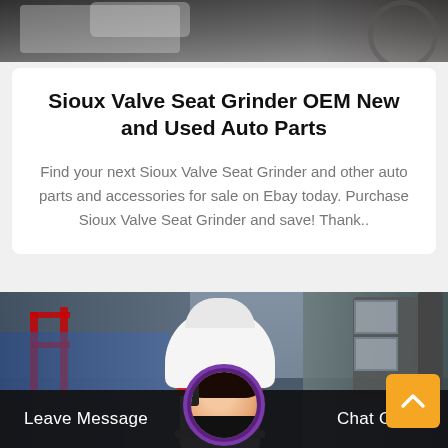[Figure (photo): Top portion of a factory/workshop interior photo showing industrial equipment and machinery in dark tones]
Sioux Valve Seat Grinder OEM New and Used Auto Parts
Find your next Sioux Valve Seat Grinder and other auto parts and accessories for sale on Ebay today. Purchase Sioux Valve Seat Grinder and save! Thank..
[Figure (photo): Industrial factory interior showing a large white cone crusher machine in the center, with scaffolding and building structures on the left and right, industrial equipment visible]
Leave Message
Chat Online